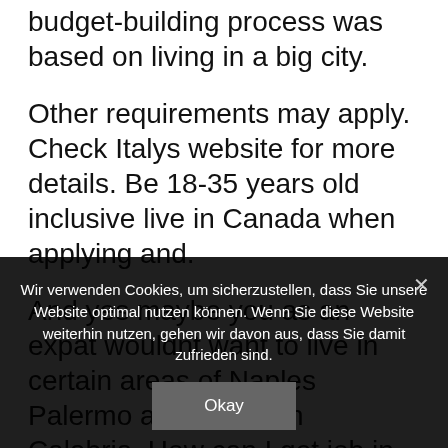budget-building process was based on living in a big city.
Other requirements may apply. Check Italys website for more details. Be 18-35 years old inclusive live in Canada when applying and.
And yes maybe you as an expat wouldnt want to live in certain areas of Naples Palermo and southern Calabria. How can I get job in Italy. If you live in Italy and were regularly commuting to work in another EU or EFTA country before 1 January 2021 read
Wir verwenden Cookies, um sicherzustellen, dass Sie unsere Website optimal nutzen können. Wenn Sie diese Website weiterhin nutzen, gehen wir davon aus, dass Sie damit zufrieden sind.
Okay